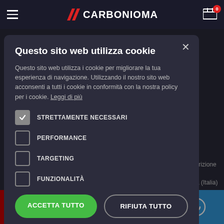[Figure (screenshot): Carboniomania website header/navbar with hamburger menu, logo, and cart icon with badge '0']
Questo sito web utilizza cookie
Questo sito web utilizza i cookie per migliorare la tua esperienza di navigazione. Utilizzando il nostro sito web acconsenti a tutti i cookie in conformità con la nostra policy per i cookie. Leggi di più
STRETTAMENTE NECESSARI
PERFORMANCE
TARGETING
FUNZIONALITÀ
ACCETTA TUTTO
RIFIUTA TUTTO
31 - Iscrizione REA Padova (Italia)